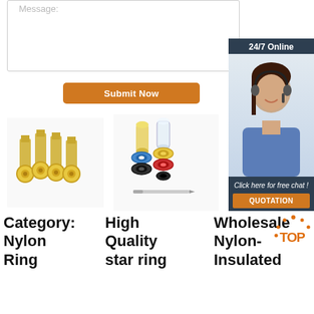Message:
[Figure (screenshot): Orange Submit Now button]
[Figure (infographic): 24/7 Online customer service representative with headset, dark blue panel, Click here for free chat text, and orange QUOTATION button]
[Figure (photo): Yellow nylon ring terminal connectors, four pieces standing upright]
[Figure (photo): Nylon insulated ring terminals in blue, black, red and yellow colors with small screwdriver]
Category: Nylon Ring Terminal...
High Quality star ring terminal...
Wholesale Nylon-Insulated...